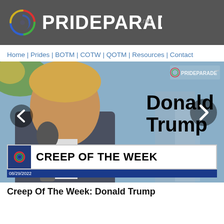[Figure (logo): PrideParade.net logo on dark gray background with colorful swirl icon]
Home | Prides | BOTM | COTW | QOTM | Resources | Contact
[Figure (photo): Photo of Donald Trump speaking at a microphone outdoors, with 'CREEP OF THE WEEK' banner and 'Donald Trump' text overlay, dated 08/29/2022]
Creep Of The Week: Donald Trump